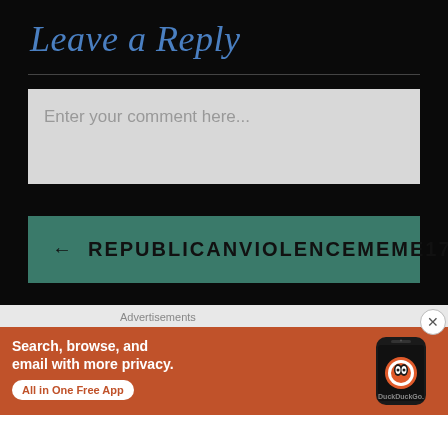Leave a Reply
Enter your comment here...
← REPUBLICANVIOLENCEMEME17
Advertisements
[Figure (screenshot): DuckDuckGo advertisement banner: orange background with text 'Search, browse, and email with more privacy. All in One Free App' and a phone image showing DuckDuckGo logo]
×